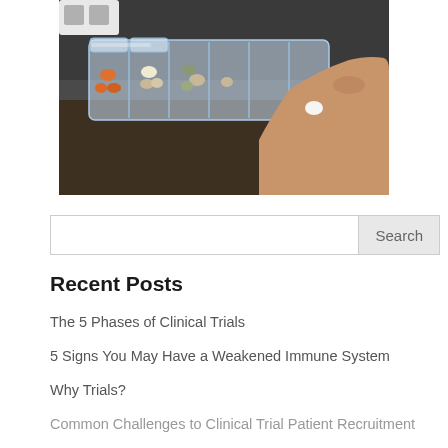[Figure (photo): A hand picking pills from a clear plastic weekly pill organizer on a dark surface. Multiple compartments visible with orange, white, and green/brown pills.]
Search
Recent Posts
The 5 Phases of Clinical Trials
5 Signs You May Have a Weakened Immune System
Why Trials?
Common Challenges to Clinical Trial Patient Recruitment